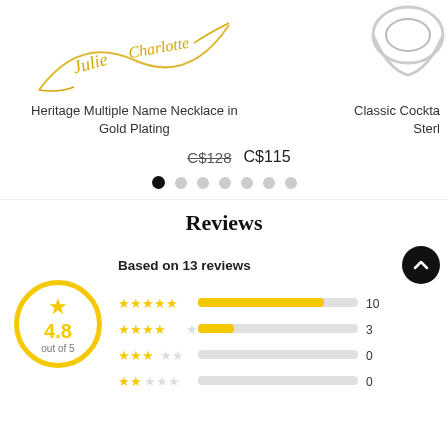[Figure (photo): Product image of Heritage Multiple Name Necklace in Gold Plating - a gold chain necklace with script name charms]
[Figure (photo): Partial product image of Classic Cocktail Ring in Sterling Silver on right side]
Heritage Multiple Name Necklace in Gold Plating
Classic Cockta Sterl
C$128  C$115
Reviews
Based on 13 reviews
[Figure (bar-chart): Star rating distribution]
4.8
out of 5